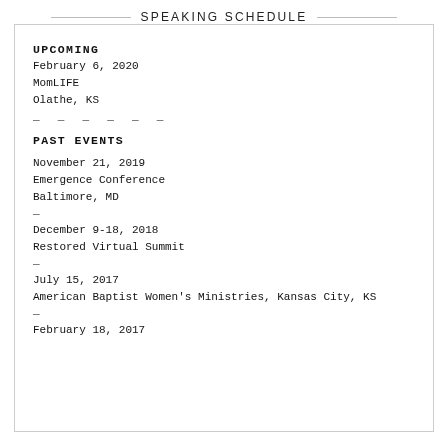SPEAKING SCHEDULE
UPCOMING
February 6, 2020
MomLIFE
Olathe, KS
— — — — — —
PAST EVENTS
November 21, 2019
Emergence Conference
Baltimore, MD
—
December 9-18, 2018
Restored Virtual Summit
—
July 15, 2017
American Baptist Women's Ministries, Kansas City, KS
—
February 18, 2017